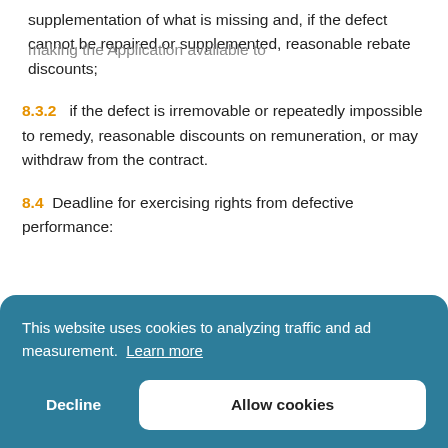supplementation of what is missing and, if the defect cannot be repaired or supplemented, reasonable rebate discounts;
8.3.2  if the defect is irremovable or repeatedly impossible to remedy, reasonable discounts on remuneration, or may withdraw from the contract.
8.4  Deadline for exercising rights from defective performance:
This website uses cookies to analyzing traffic and ad measurement. Learn more
Decline  Allow cookies
making the Application available to